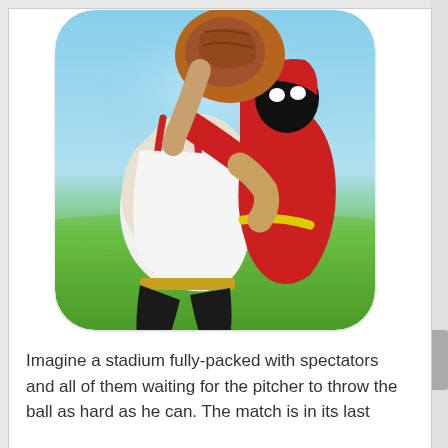[Figure (illustration): App icon with rounded corners showing two cartoon-style baseball players: a pitcher in white uniform with red suspenders and a catcher's mitt, grappling with a ninja-like figure in red outfit with black mask and yellow belt. Background shows blue sky and green grass.]
Imagine a stadium fully-packed with spectators and all of them waiting for the pitcher to throw the ball as hard as he can. The match is in its last